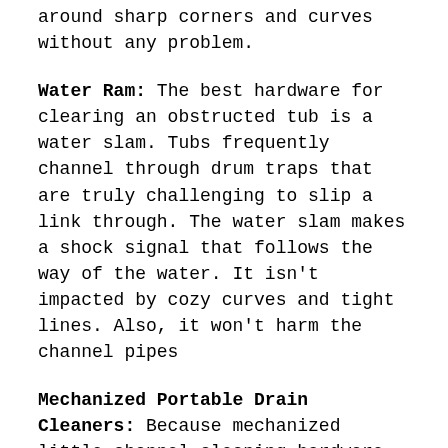around sharp corners and curves without any problem.
Water Ram: The best hardware for clearing an obstructed tub is a water slam. Tubs frequently channel through drum traps that are truly challenging to slip a link through. The water slam makes a shock signal that follows the way of the water. It isn't impacted by cozy curves and tight lines. Also, it won't harm the channel pipes
Mechanized Portable Drain Cleaners: Because mechanized little channel cleaning hardware is lightweight and compact, administrators can grasp and support the handle while gradually and cautiously propelling the turning loop snake. The hardware is not difficult to move, put down, and reach out ceaselessly or easing back the revolution of the drive shaft. When